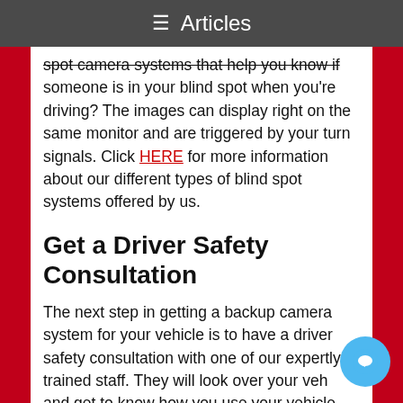Articles
spot camera systems that help you know if someone is in your blind spot when you're driving? The images can display right on the same monitor and are triggered by your turn signals. Click HERE for more information about our different types of blind spot systems offered by us.
Get a Driver Safety Consultation
The next step in getting a backup camera system for your vehicle is to have a driver safety consultation with one of our expertly trained staff. They will look over your veh and get to know how you use your vehicle